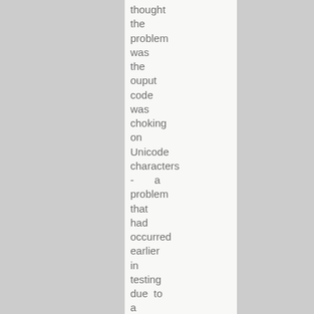thought the problem was the ouput code was choking on Unicode characters - a problem that had occurred earlier in testing due to a problem I solved